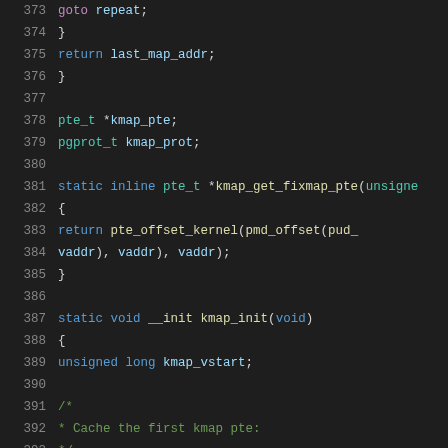Source code listing lines 373-394, C kernel code showing kmap functions
373: goto repeat;
374: }
375: return last_map_addr;
376: }
377: 
378: pte_t *kmap_pte;
379: pgprot_t kmap_prot;
380: 
381: static inline pte_t *kmap_get_fixmap_pte(unsigne
382: {
383: return pte_offset_kernel(pmd_offset(pud_
384: vaddr), vaddr), vaddr);
385: }
386: 
387: static void __init kmap_init(void)
388: {
389: unsigned long kmap_vstart;
390: 
391: /*
392: * Cache the first kmap pte:
393: */
394: kmap_vstart = fix_to_virt(FIX_KMAP_BE